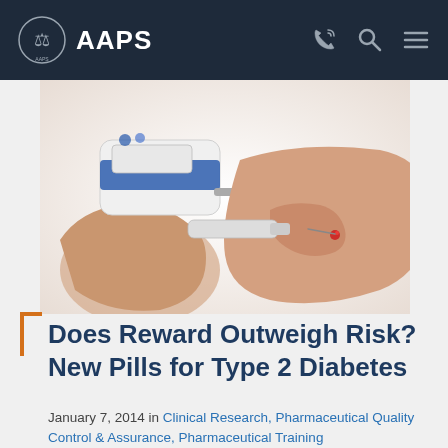AAPS
[Figure (photo): Close-up photo of a person's hand being tested with a blood glucose meter — a lancet touching the fingertip with a small drop of blood visible, and a white/blue glucose meter held in the other hand.]
Does Reward Outweigh Risk? New Pills for Type 2 Diabetes
January 7, 2014 in Clinical Research, Pharmaceutical Quality Control & Assurance, Pharmaceutical Training